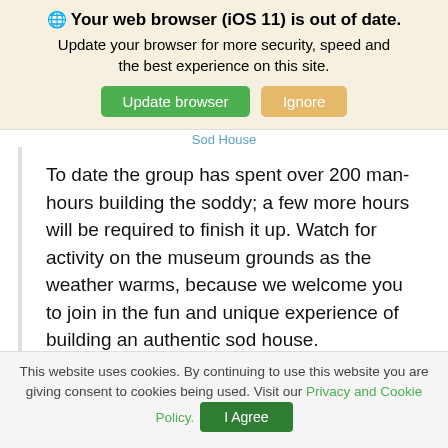🌐 Your web browser (iOS 11) is out of date. Update your browser for more security, speed and the best experience on this site.
Update browser | Ignore
Sod House
To date the group has spent over 200 man-hours building the soddy; a few more hours will be required to finish it up. Watch for activity on the museum grounds as the weather warms, because we welcome you to join in the fun and unique experience of building an authentic sod house.
This article was written by the Ox Cart Trails Historical Society. If you liked it, you can visit the
This website uses cookies. By continuing to use this website you are giving consent to cookies being used. Visit our Privacy and Cookie Policy.
I Agree